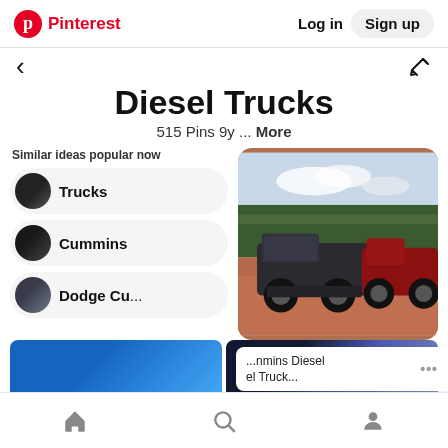Pinterest | Log in | Sign up
Diesel Trucks
515 Pins 9y ... More
Similar ideas popular now
Trucks
Cummins
Dodge Cu...
[Figure (photo): Two lifted pickup trucks (dark grey and red) parked on red dirt with trees in background]
...nmins Diesel el Truck...
Home | Search | Profile | ...